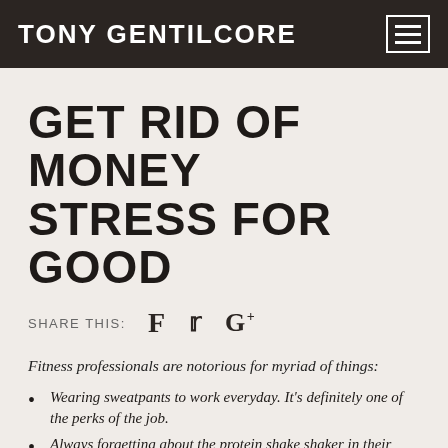TONY GENTILCORE
GET RID OF MONEY STRESS FOR GOOD
SHARE THIS:
Fitness professionals are notorious for myriad of things:
Wearing sweatpants to work everyday. It's definitely one of the perks of the job.
Always forgetting about the protein shake shaker in their gym bag (or in their car) that invariably, three weeks later, ends up melting someone's face off once it's opened.
Their affinity for smedium t-shirts.
Never talking about financial literacy (I.e., planning for retirement, investing, and/or general business savviness)